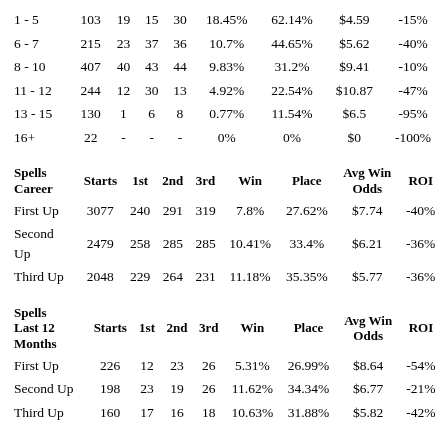|  | Starts | 1st | 2nd | 3rd | Win | Place | Avg Win Odds | ROI |
| --- | --- | --- | --- | --- | --- | --- | --- | --- |
| 1 - 5 | 103 | 19 | 15 | 30 | 18.45% | 62.14% | $4.59 | -15% |
| 6 - 7 | 215 | 23 | 37 | 36 | 10.7% | 44.65% | $5.62 | -40% |
| 8 - 10 | 407 | 40 | 43 | 44 | 9.83% | 31.2% | $9.41 | -10% |
| 11 - 12 | 244 | 12 | 30 | 13 | 4.92% | 22.54% | $10.87 | -47% |
| 13 - 15 | 130 | 1 | 6 | 8 | 0.77% | 11.54% | $6.5 | -95% |
| 16+ | 22 | - | - | - | 0% | 0% | $0 | -100% |
| Spells Career | Starts | 1st | 2nd | 3rd | Win | Place | Avg Win Odds | ROI |
| --- | --- | --- | --- | --- | --- | --- | --- | --- |
| First Up | 3077 | 240 | 291 | 319 | 7.8% | 27.62% | $7.74 | -40% |
| Second Up | 2479 | 258 | 285 | 285 | 10.41% | 33.4% | $6.21 | -36% |
| Third Up | 2048 | 229 | 264 | 231 | 11.18% | 35.35% | $5.77 | -36% |
| Spells Last 12 Months | Starts | 1st | 2nd | 3rd | Win | Place | Avg Win Odds | ROI |
| --- | --- | --- | --- | --- | --- | --- | --- | --- |
| First Up | 226 | 12 | 23 | 26 | 5.31% | 26.99% | $8.64 | -54% |
| Second Up | 198 | 23 | 19 | 26 | 11.62% | 34.34% | $6.77 | -21% |
| Third Up | 160 | 17 | 16 | 18 | 10.63% | 31.88% | $5.82 | -42% |